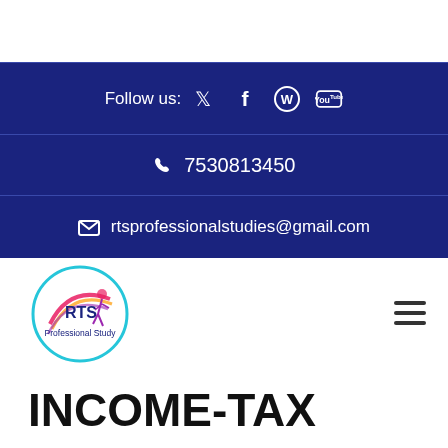Follow us: [Twitter] [Facebook] [WhatsApp] [YouTube]
📞 7530813450
✉ rtsprofessionalstudies@gmail.com
[Figure (logo): RTS Professional Study circular logo with a figure and colorful swoosh]
INCOME-TAX NOTIFICATION NO.3